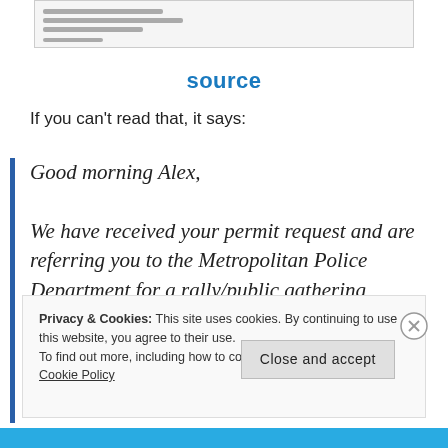[Figure (screenshot): Small screenshot thumbnail of an email or document with three lines of blurred text]
source
If you can't read that, it says:
Good morning Alex,

We have received your permit request and are referring you to the Metropolitan Police Department for a rally/public gathering permit.
Privacy & Cookies: This site uses cookies. By continuing to use this website, you agree to their use.
To find out more, including how to control cookies, see here: Cookie Policy
Close and accept